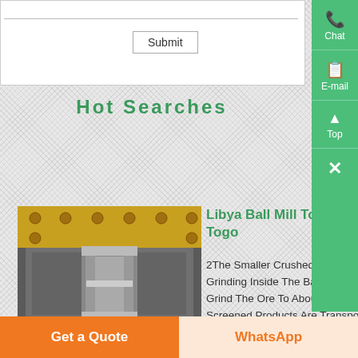Submit
Hot Searches
[Figure (photo): Ball mill industrial grinding machine photographed from front, showing yellow/gold colored frame with metal plates and mechanical press components]
Libya Ball Mill To Grind The Chrome Ore In Togo
2The Smaller Crushed Chrome Ore Fed To Ball Mill For Grinding Inside The Ball Mill, The Crushed Chrome Ore Will Grind The Ore To About 02 Mm With 3-Inch Steel Balls 3 Screened Products Are Transported To The Jig For Rough Separation A To Three Concentrating Tables For Fine Separation Chrome Ore
Get a Quote
WhatsApp